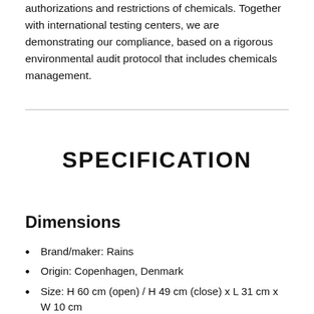authorizations and restrictions of chemicals. Together with international testing centers, we are demonstrating our compliance, based on a rigorous environmental audit protocol that includes chemicals management.
SPECIFICATION
Dimensions
Brand/maker: Rains
Origin: Copenhagen, Denmark
Size: H 60 cm (open) / H 49 cm (close) x L 31 cm x W 10 cm
Volume: 18 liters